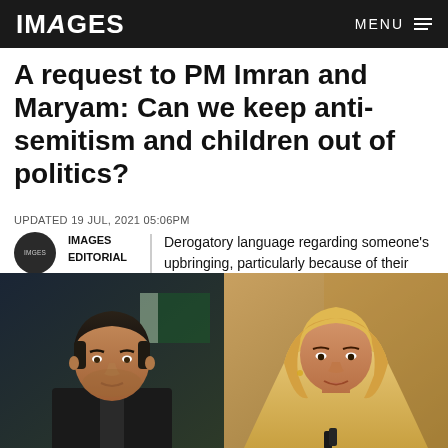IMAGES   MENU
A request to PM Imran and Maryam: Can we keep anti-semitism and children out of politics?
UPDATED 19 JUL, 2021 05:06PM
IMAGES EDITORIAL
Derogatory language regarding someone's upbringing, particularly because of their religion, is not okay.
[Figure (photo): Side-by-side photos of PM Imran Khan (left) and Maryam Nawaz (right)]